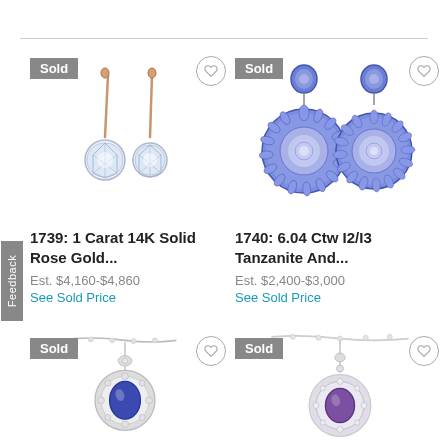Feedback
[Figure (photo): Rose gold lever-back diamond earrings with round white gemstone, shown as a pair. Sold badge visible.]
1739: 1 Carat 14K Solid Rose Gold...
Est. $4,160-$4,860
See Sold Price
[Figure (photo): Large circular tanzanite and diamond earrings in silver setting, shown as a pair. Sold badge visible.]
1740: 6.04 Ctw I2/I3 Tanzanite And...
Est. $2,400-$3,000
See Sold Price
[Figure (photo): Tanzanite and diamond pendant necklace in white gold, partially visible. Sold badge visible.]
[Figure (photo): Amethyst and diamond pendant necklace in white gold, partially visible. Sold badge visible.]